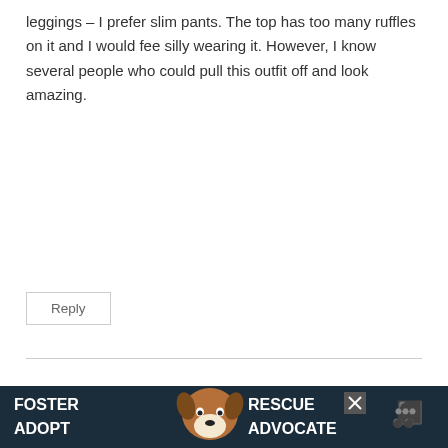leggings – I prefer slim pants. The top has too many ruffles on it and I would fee silly wearing it. However, I know several people who could pull this outfit off and look amazing.
Reply
Pamela Lutrell says:
May 2, 2020 at 5:11 pm
Thanks so much, Susan!
Reply
[Figure (infographic): Dark advertisement banner at bottom with text FOSTER ADOPT on the left, a dog photo in the center, and RESCUE ADVOCATE on the right, with a close button and a small logo.]